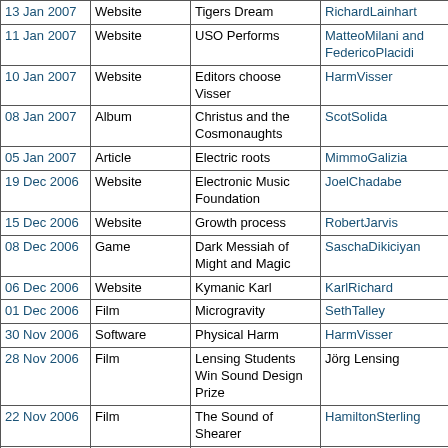| Date | Type | Title | Author |
| --- | --- | --- | --- |
| 13 Jan 2007 | Website | Tigers Dream | RichardLainhart |
| 11 Jan 2007 | Website | USO Performs | MatteoMilani and FedericoPlacidi |
| 10 Jan 2007 | Website | Editors choose Visser | HarmVisser |
| 08 Jan 2007 | Album | Christus and the Cosmonaughts | ScotSolida |
| 05 Jan 2007 | Article | Electric roots | MimmoGalizia |
| 19 Dec 2006 | Website | Electronic Music Foundation | JoelChadabe |
| 15 Dec 2006 | Website | Growth process | RobertJarvis |
| 08 Dec 2006 | Game | Dark Messiah of Might and Magic | SaschaDikiciyan |
| 06 Dec 2006 | Website | Kymanic Karl | KarlRichard |
| 01 Dec 2006 | Film | Microgravity | SethTalley |
| 30 Nov 2006 | Software | Physical Harm | HarmVisser |
| 28 Nov 2006 | Film | Lensing Students Win Sound Design Prize | Jörg Lensing |
| 22 Nov 2006 | Film | The Sound of Shearer | HamiltonSterling |
| 22 Oct 2006 | Advertisement | The Sound of Oxygen | TobiasEnhus |
| 20 Oct 2006 | Film | The Sound of Perfume | FrankKruse |